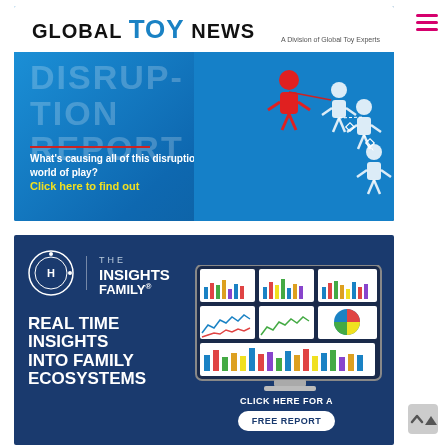[Figure (illustration): Global Toy News website screenshot showing two advertisement banners. Top banner: 'DISRUPTION REPORT' on blue background with meeple figures, text 'What’s causing all of this disruption to our world of play? Click here to find out'. Bottom banner: The Insights Family® - 'REAL TIME INSIGHTS INTO FAMILY ECOSYSTEMS' with monitor showing charts, 'CLICK HERE FOR A FREE REPORT' button.]
[Figure (logo): Global TOY News logo - black bold text with blue TOY]
[Figure (illustration): The Insights Family® - Real Time Insights Into Family Ecosystems advertisement banner]